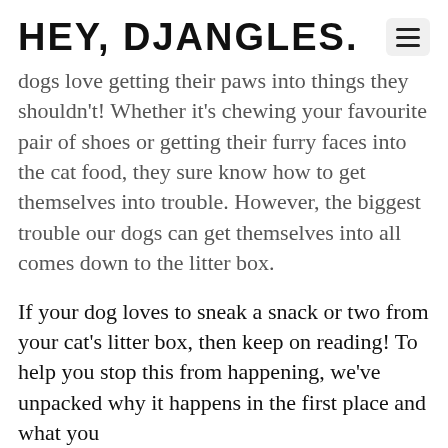HEY, DJANGLES.
dogs love getting their paws into things they shouldn't! Whether it's chewing your favourite pair of shoes or getting their furry faces into the cat food, they sure know how to get themselves into trouble. However, the biggest trouble our dogs can get themselves into all comes down to the litter box.
If your dog loves to sneak a snack or two from your cat's litter box, then keep on reading! To help you stop this from happening, we've unpacked why it happens in the first place and what you